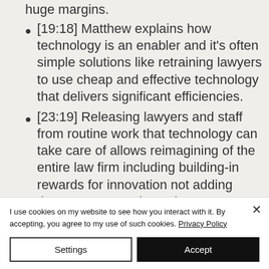[19:18] Matthew explains how technology is an enabler and it's often simple solutions like retraining lawyers to use cheap and effective technology that delivers significant efficiencies.
[23:19] Releasing lawyers and staff from routine work that technology can take care of allows reimagining of the entire law firm including building-in rewards for innovation not adding them on as extra incentives.
I use cookies on my website to see how you interact with it. By accepting, you agree to my use of such cookies. Privacy Policy
Settings  Accept